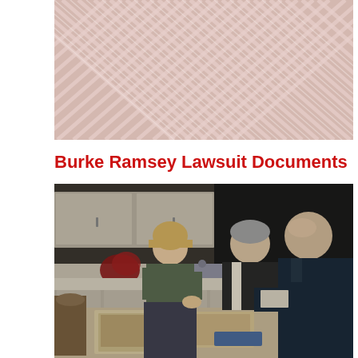[Figure (photo): Close-up photo of pink and white striped fabric crossed diagonally]
Burke Ramsey Lawsuit Documents
[Figure (photo): Three people in a kitchen setting looking at documents on a table; a blonde woman and two older men, one bald in a dark suit]